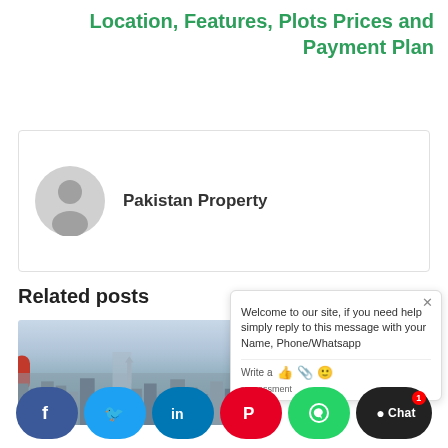Location, Features, Plots Prices and Payment Plan
[Figure (illustration): Author avatar placeholder icon — grey circle with person silhouette]
Pakistan Property
Related posts
[Figure (photo): Aerial cityscape photo showing a dense urban area with a wide boulevard, misty sky]
[Figure (screenshot): Chat widget popup: 'Welcome to our site, if you need help simply reply to this message with your Name, Phone/Whatsapp' with close button and write/attachment/emoji icons, and text 'rassessment']
[Figure (infographic): Social sharing bar with Facebook, Twitter, LinkedIn, Pinterest, WhatsApp buttons and a Chat button with notification badge '1']